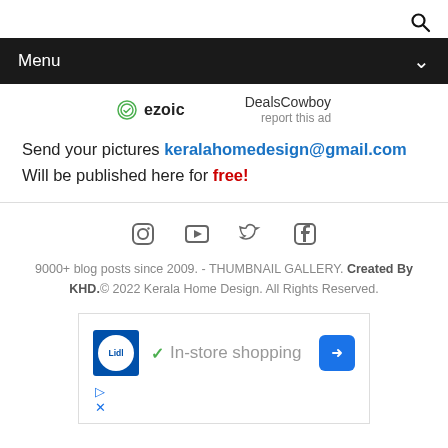[Figure (screenshot): Search icon (magnifying glass) in top right corner]
Menu
[Figure (logo): Ezoic badge with green circular icon and DealsCowboy report this ad text]
Send your pictures keralahomedesign@gmail.com Will be published here for free!
[Figure (infographic): Social media icons: Instagram, YouTube, Twitter, Facebook]
9000+ blog posts since 2009. - THUMBNAIL GALLERY. Created By KHD.© 2022 Kerala Home Design. All Rights Reserved.
[Figure (screenshot): Lidl advertisement: In-store shopping with checkmark and navigation arrow icon, with play and close controls]